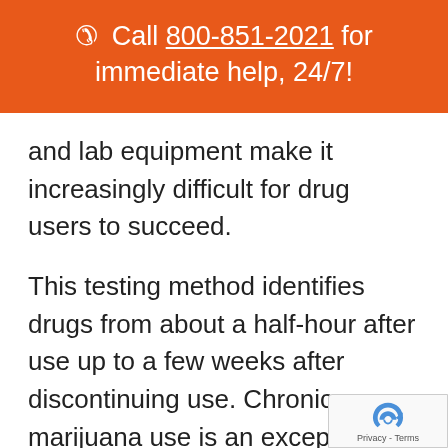📞 Call 800-851-2021 for immediate help, 24/7!
and lab equipment make it increasingly difficult for drug users to succeed.
This testing method identifies drugs from about a half-hour after use up to a few weeks after discontinuing use. Chronic marijuana use is an exception to the rule. Regular users can test positive for up to thirty days. You ca